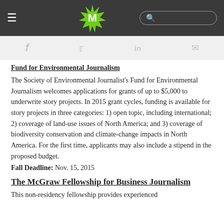[Figure (screenshot): Dark navigation bar with hamburger menu, green M logo circle, and search bar]
[Figure (screenshot): Social sharing bar with Facebook, Twitter, LinkedIn, and email icons in light gray]
Fund for Environmental Journalism
The Society of Environmental Journalist's Fund for Environmental Journalism welcomes applications for grants of up to $5,000 to underwrite story projects. In 2015 grant cycles, funding is available for story projects in three categories: 1) open topic, including international; 2) coverage of land-use issues of North America; and 3) coverage of biodiversity conservation and climate-change impacts in North America. For the first time, applicants may also include a stipend in the proposed budget.
Fall Deadline: Nov. 15, 2015
The McGraw Fellowship for Business Journalism
This non-residency fellowship provides experienced